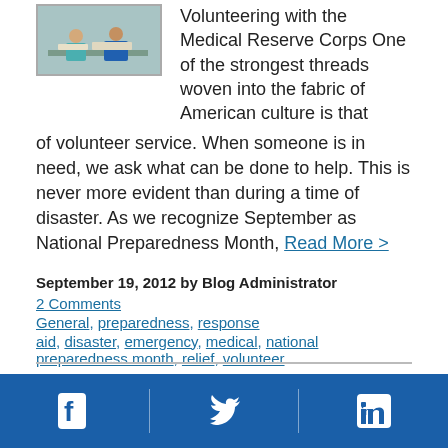[Figure (photo): Two people at a table, one in a blue vest, appearing to volunteer at a Medical Reserve Corps event.]
Volunteering with the Medical Reserve Corps One of the strongest threads woven into the fabric of American culture is that of volunteer service. When someone is in need, we ask what can be done to help. This is never more evident than during a time of disaster. As we recognize September as National Preparedness Month, Read More >
September 19, 2012 by Blog Administrator
2 Comments
General, preparedness, response
aid, disaster, emergency, medical, national preparedness month, relief, volunteer
Facebook | Twitter | LinkedIn